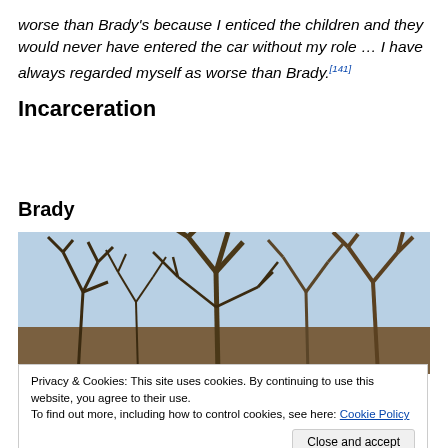worse than Brady's because I enticed the children and they would never have entered the car without my role … I have always regarded myself as worse than Brady.[141]
Incarceration
Brady
[Figure (photo): Photograph of bare winter trees with branches against a light blue sky, with earthy ground below]
Privacy & Cookies: This site uses cookies. By continuing to use this website, you agree to their use.
To find out more, including how to control cookies, see here: Cookie Policy